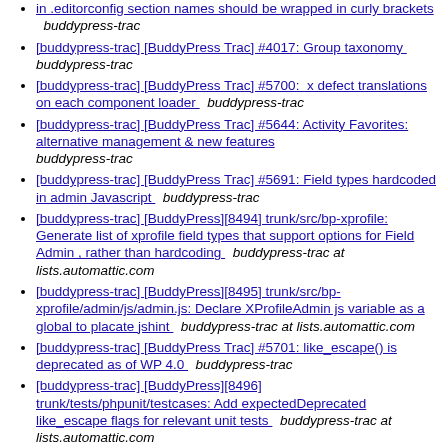in .editorconfig section names should be wrapped in curly brackets   buddypress-trac
[buddypress-trac] [BuddyPress Trac] #4017: Group taxonomy   buddypress-trac
[buddypress-trac] [BuddyPress Trac] #5700:  x defect translations on each component loader   buddypress-trac
[buddypress-trac] [BuddyPress Trac] #5644: Activity Favorites: alternative management & new features   buddypress-trac
[buddypress-trac] [BuddyPress Trac] #5691: Field types hardcoded in admin Javascript   buddypress-trac
[buddypress-trac] [BuddyPress][8494] trunk/src/bp-xprofile: Generate list of xprofile field types that support options for Field Admin , rather than hardcoding   buddypress-trac at lists.automattic.com
[buddypress-trac] [BuddyPress][8495] trunk/src/bp-xprofile/admin/js/admin.js: Declare XProfileAdmin js variable as a global to placate jshint   buddypress-trac at lists.automattic.com
[buddypress-trac] [BuddyPress Trac] #5701: like_escape() is deprecated as of WP 4.0   buddypress-trac
[buddypress-trac] [BuddyPress][8496] trunk/tests/phpunit/testcases: Add expectedDeprecated like_escape flags for relevant unit tests   buddypress-trac at lists.automattic.com